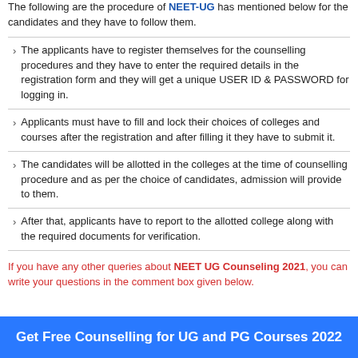The following are the procedure of NEET-UG has mentioned below for the candidates and they have to follow them.
The applicants have to register themselves for the counselling procedures and they have to enter the required details in the registration form and they will get a unique USER ID & PASSWORD for logging in.
Applicants must have to fill and lock their choices of colleges and courses after the registration and after filling it they have to submit it.
The candidates will be allotted in the colleges at the time of counselling procedure and as per the choice of candidates, admission will provide to them.
After that, applicants have to report to the allotted college along with the required documents for verification.
If you have any other queries about NEET UG Counseling 2021, you can write your questions in the comment box given below.
Get Free Counselling for UG and PG Courses 2022